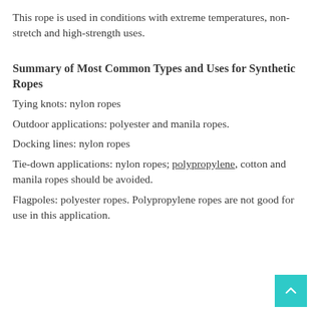This rope is used in conditions with extreme temperatures, non-stretch and high-strength uses.
Summary of Most Common Types and Uses for Synthetic Ropes
Tying knots: nylon ropes
Outdoor applications: polyester and manila ropes.
Docking lines: nylon ropes
Tie-down applications: nylon ropes; polypropylene, cotton and manila ropes should be avoided.
Flagpoles: polyester ropes. Polypropylene ropes are not good for use in this application.